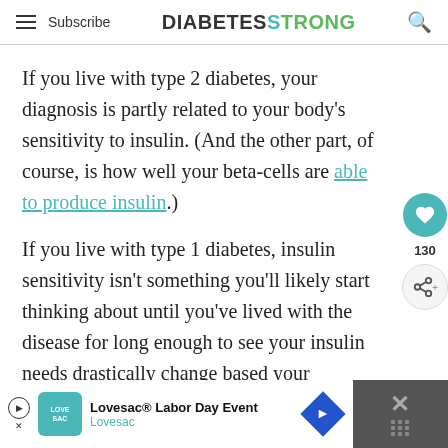Subscribe | DIABETESTRONG
If you live with type 2 diabetes, your diagnosis is partly related to your body’s sensitivity to insulin. (And the other part, of course, is how well your beta-cells are able to produce insulin.)
If you live with type 1 diabetes, insulin sensitivity isn’t something you’ll likely start thinking about until you’ve lived with the disease for long enough to see your insulin needs drastically change based your sensitivity changing.